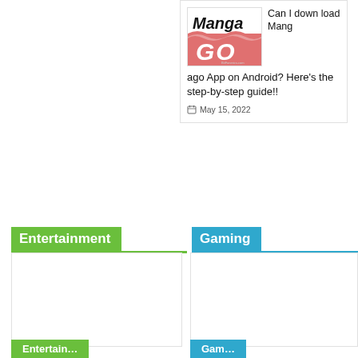[Figure (screenshot): Article card: MangaGO app logo image (pink/red background with GO text) and article title 'Can I download Mangago App on Android? Here's the step-by-step guide!!' dated May 15, 2022]
Entertainment
Gaming
[Figure (screenshot): Entertainment category card placeholder image (white/empty)]
[Figure (screenshot): Gaming category card placeholder image (white/empty)]